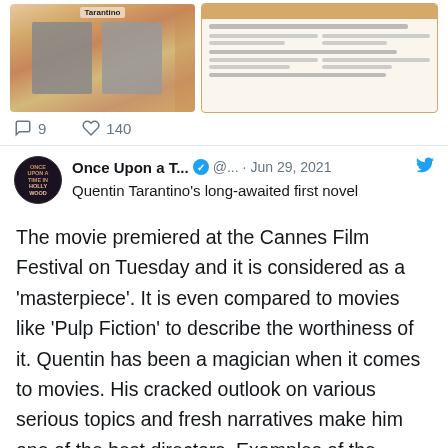[Figure (screenshot): Two tweet images side by side: left shows a book/poster with 'Tarantino' text and decorative orange pattern with two photos; right shows a document with orange header bar and text lines]
9  140
[Figure (screenshot): Tweet from 'Once Upon a T...' verified account (@...) dated Jun 29, 2021 with Twitter bird icon and avatar showing Hollywood text]
Once Upon a T...  @...  · Jun 29, 2021
Quentin Tarantino's long-awaited first novel
The movie premiered at the Cannes Film Festival on Tuesday and it is considered as a ‘masterpiece’. It is even compared to movies like ‘Pulp Fiction’ to describe the worthiness of it. Quentin has been a magician when it comes to movies. His cracked outlook on various serious topics and fresh narratives make him one of the best directors. Examples of the Tarantino style are ‘Inglorious Basterds’ ‘Pulp Fiction’ obviously, ‘Django Unchained’ and ‘Kill Bill’ franchise.